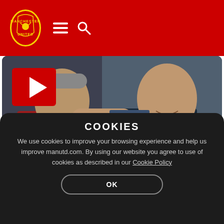Manchester United - manutd.com
[Figure (photo): Two smiling men, one older with grey beard in red zip-up top, one younger in dark polo shirt, arms around each other. Manchester United podcast thumbnail with red play button.]
UTD PODCAST: ERIC ON THE 'SEAGULLS' QUOTE
COOKIES
We use cookies to improve your browsing experience and help us improve manutd.com. By using our website you agree to use of cookies as described in our Cookie Policy
OK